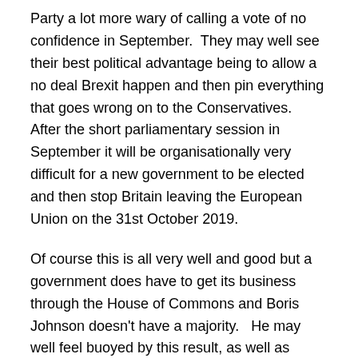Party a lot more wary of calling a vote of no confidence in September.  They may well see their best political advantage being to allow a no deal Brexit happen and then pin everything that goes wrong on to the Conservatives.   After the short parliamentary session in September it will be organisationally very difficult for a new government to be elected and then stop Britain leaving the European Union on the 31st October 2019.
Of course this is all very well and good but a government does have to get its business through the House of Commons and Boris Johnson doesn't have a majority.   He may well feel buoyed by this result, as well as private polling, to try and force an election in September anyway in the hope of getting the working majority he needs.  Perhaps.